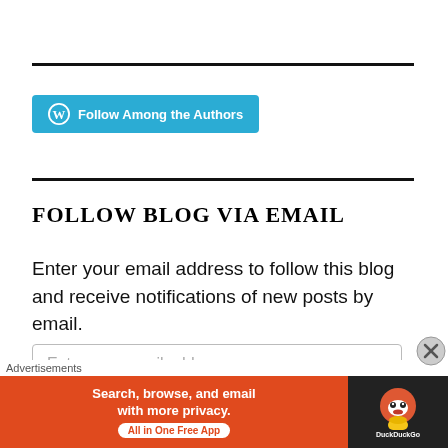[Figure (other): Horizontal rule divider line]
[Figure (other): WordPress Follow button: 'Follow Among the Authors' with WordPress logo on cyan/blue background]
[Figure (other): Horizontal rule divider line]
FOLLOW BLOG VIA EMAIL
Enter your email address to follow this blog and receive notifications of new posts by email.
Enter your email address
[Figure (other): DuckDuckGo advertisement banner: orange left side with text 'Search, browse, and email with more privacy. All in One Free App' and dark right side with DuckDuckGo duck logo]
Advertisements